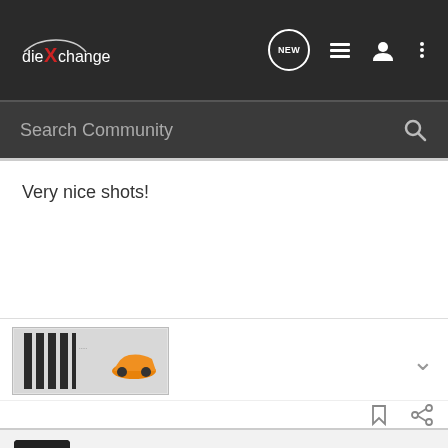diecastXchange — NEW [icon] [icon] [icon]
Search Community
Very nice shots!
[Figure (screenshot): Thumbnail image of a diecast car model with orange car and logo text]
Seby123 · Registered
Joined Mar 8, 2009 · 2,441 Posts
#7 · Jul 1, 2010